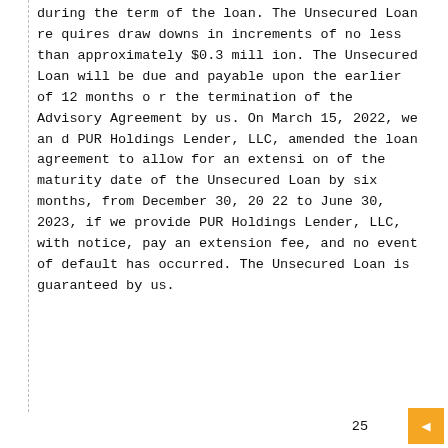during the term of the loan. The Unsecured Loan requires draw downs in increments of no less than approximately $0.3 million. The Unsecured Loan will be due and payable upon the earlier of 12 months or the termination of the Advisory Agreement by us. On March 15, 2022, we and PUR Holdings Lender, LLC, amended the loan agreement to allow for an extension of the maturity date of the Unsecured Loan by six months, from December 30, 2022 to June 30, 2023, if we provide PUR Holdings Lender, LLC, with notice, pay an extension fee, and no event of default has occurred. The Unsecured Loan is guaranteed by us.
25